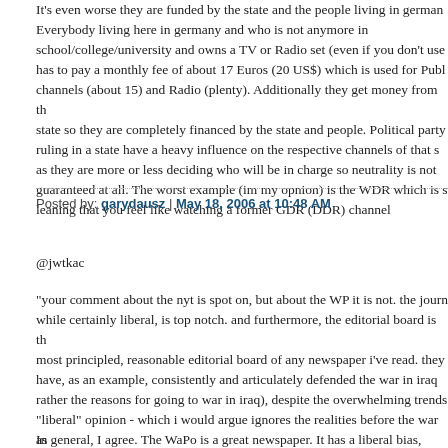It's even worse they are funded by the state and the people living in germany. Everybody living here in germany and who is not anymore in school/college/university and owns a TV or Radio set (even if you don't use) has to pay a monthly fee of about 17 Euros (20 US$) which is used for Public channels (about 15) and Radio (plenty). Additionally they get money from the state so they are completely financed by the state and people. Political party ruling in a state have a heavy influence on the respective channels of that state as they are more or less deciding who will be in charge so neutrality is not guaranteed at all. The worst example (im my opnion) is the WDR which is so left leaning that you feel like watching a former GDR (DDR) channel
Posted by: garydausz | May 18, 2006 at 10:48 AM
@jwtkac
"your comment about the nyt is spot on, but about the WP it is not. the journalism, while certainly liberal, is top notch. and furthermore, the editorial board is the most principled, reasonable editorial board of any newspaper i've read. they have, as an example, consistently and articulately defended the war in iraq (rather the reasons for going to war in iraq), despite the overwhelming trends of "liberal" opinion - which i would argue ignores the realities before the war as much as "conservative" opinion ignores the realities during the war."
In general, I agree. The WaPo is a great newspaper. It has a liberal bias.